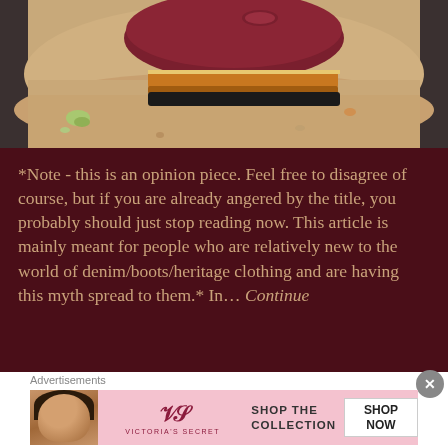[Figure (photo): Close-up photo of a dark brown/burgundy leather dress shoe with a wooden stacked heel and tan/black sole, resting on sandy ground with small pebbles and rocks.]
*Note - this is an opinion piece. Feel free to disagree of course, but if you are already angered by the title, you probably should just stop reading now. This article is mainly meant for people who are relatively new to the world of denim/boots/heritage clothing and are having this myth spread to them.* In... Continue
Advertisements
[Figure (screenshot): Victoria's Secret advertisement banner showing a woman with curly hair, the VS logo, text 'SHOP THE COLLECTION', and a 'SHOP NOW' button on a pink background.]